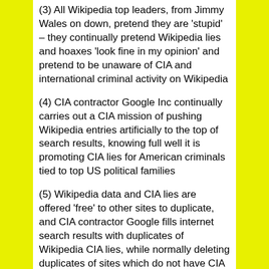(3) All Wikipedia top leaders, from Jimmy Wales on down, pretend they are ‘stupid’ – they continually pretend Wikipedia lies and hoaxes ‘look fine in my opinion’ and pretend to be unaware of CIA and international criminal activity on Wikipedia
(4) CIA contractor Google Inc continually carries out a CIA mission of pushing Wikipedia entries artificially to the top of search results, knowing full well it is promoting CIA lies for American criminals tied to top US political families
(5) Wikipedia data and CIA lies are offered ‘free’ to other sites to duplicate, and CIA contractor Google fills internet search results with duplicates of Wikipedia CIA lies, while normally deleting duplicates of sites which do not have CIA endorsement
(6) Beneath the top level of Wikipedia administrators who are entirely CIA criminals, non-CIA ‘useful idiots’ are cultivated at middle and lower levels to supply content and funds, edit non-CIA topics, and be duped into defrauding their fellow citizens